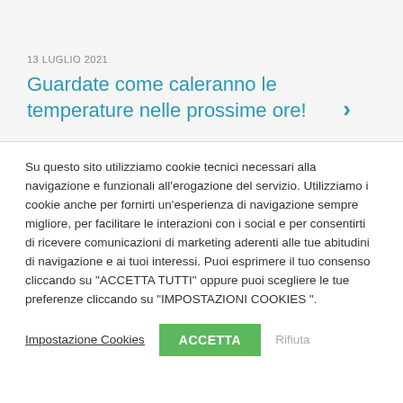13 LUGLIO 2021
Guardate come caleranno le temperature nelle prossime ore!
Su questo sito utilizziamo cookie tecnici necessari alla navigazione e funzionali all'erogazione del servizio. Utilizziamo i cookie anche per fornirti un'esperienza di navigazione sempre migliore, per facilitare le interazioni con i social e per consentirti di ricevere comunicazioni di marketing aderenti alle tue abitudini di navigazione e ai tuoi interessi. Puoi esprimere il tuo consenso cliccando su "ACCETTA TUTTI" oppure puoi scegliere le tue preferenze cliccando su "IMPOSTAZIONI COOKIES ".
Impostazione Cookies | ACCETTA | Rifiuta